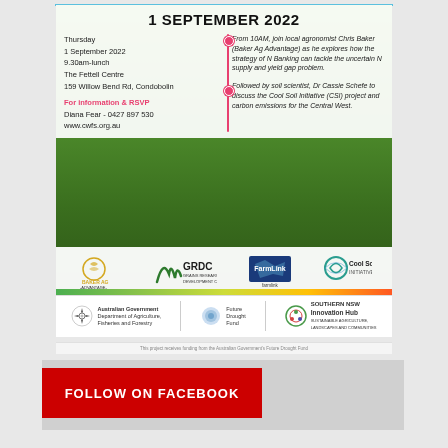1 SEPTEMBER 2022
Thursday
1 September 2022
9.30am-lunch
The Fettell Centre
159 Willow Bend Rd, Condobolin
For information & RSVP
Diana Fear - 0427 897 530
www.cwfs.org.au
From 10AM, join local agronomist Chris Baker (Baker Ag Advantage) as he explores how the strategy of N Banking can tackle the uncertain N supply and yield gap problem.

Followed by soil scientist, Dr Cassie Schefe to discuss the Cool Soil Initiative (CSI) project and carbon emissions for the Central West.
[Figure (logo): Baker Ag Advantage logo]
[Figure (logo): GRDC Grains Research & Development Corporation logo]
[Figure (logo): FarmLink logo]
[Figure (logo): Cool Soil Initiative logo]
[Figure (logo): Australian Government Department of Agriculture, Fisheries and Forestry logo]
[Figure (logo): Future Drought Fund logo]
[Figure (logo): Southern NSW Innovation Hub logo]
This project receives funding from the Australian Government's Future Drought Fund
FOLLOW ON FACEBOOK